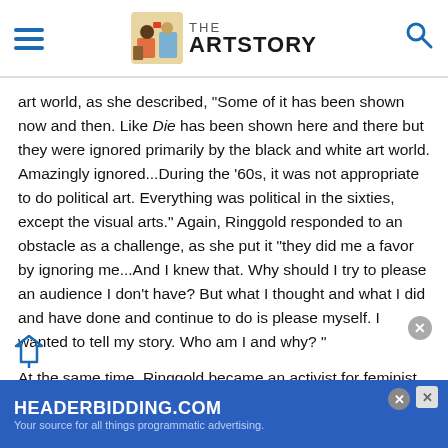THE ART STORY
art world, as she described, "Some of it has been shown now and then. Like Die has been shown here and there but they were ignored primarily by the black and white art world. Amazingly ignored...During the '60s, it was not appropriate to do political art. Everything was political in the sixties, except the visual arts." Again, Ringgold responded to an obstacle as a challenge, as she put it "they did me a favor by ignoring me...And I knew that. Why should I try to please an audience I don't have? But what I thought and what I did and have done and continue to do is please myself. I wanted to tell my story. Who am I and why? "
At the same time, Ringgold became an activist for feminist and anti-racism causes. She cofounded the Ad Hoc Women's Art Committee with art critic and historian Lucy Lippard and artist P... Whitney Museum... African
[Figure (other): HEADERBIDDING.COM advertisement banner - Your source for all things programmatic advertising.]